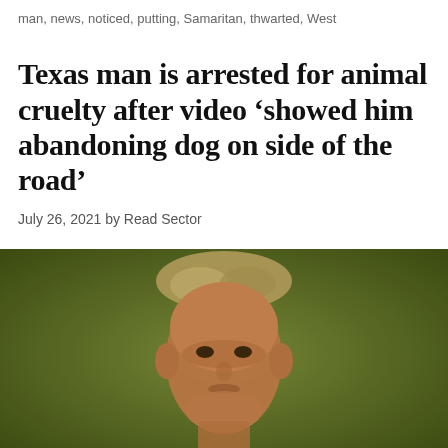man, news, noticed, putting, Samaritan, thwarted, West
Texas man is arrested for animal cruelty after video 'showed him abandoning dog on side of the road'
July 26, 2021 by Read Sector
[Figure (photo): Mugshot-style photo of a man with blonde/grey hair against an olive green background]